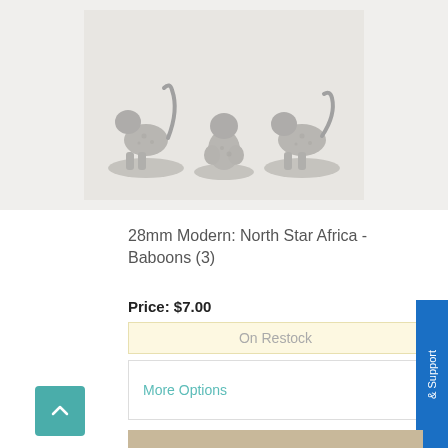[Figure (photo): Three gray resin miniature baboon figurines on bases, photographed against a light background. Left figurine is in a walking pose with tail raised, center is crouching, and right is in a leaning/prowling pose.]
28mm Modern: North Star Africa - Baboons (3)
Price: $7.00
On Restock
More Options